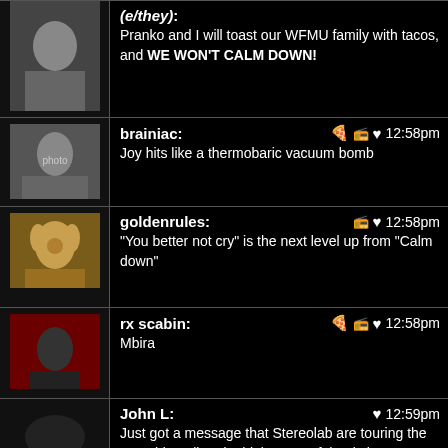(e/they): Pranko and I will toast our WFMU family with tacos, and WE WON'T CALM DOWN!
brainiac: 12:58pm — Joy hits like a thermobaric vacuum bomb
goldenrules: 12:58pm — "You better not cry" is the next level up from "Calm down"
rx scabin: 12:58pm — Mbira
John L: 12:59pm — Just got a message that Stereolab are touring the U.S. this Fall and I think some of the tix have already gone on sale. I thought some of you might be interested.
chresti: 12:59pm — Guisados! www.guisados.la
tim from washington: 12:59pm — That's OK, Handy. I'm not winning any